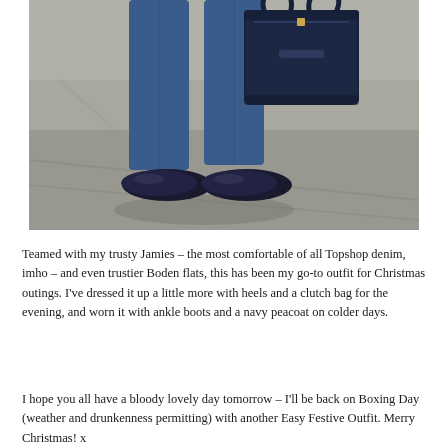[Figure (photo): Lower half of a person wearing blue skinny jeans and navy flat shoes, carrying a large navy structured tote bag, walking on a concrete/asphalt surface.]
Teamed with my trusty Jamies – the most comfortable of all Topshop denim, imho – and even trustier Boden flats, this has been my go-to outfit for Christmas outings. I've dressed it up a little more with heels and a clutch bag for the evening, and worn it with ankle boots and a navy peacoat on colder days.
I hope you all have a bloody lovely day tomorrow – I'll be back on Boxing Day (weather and drunkenness permitting) with another Easy Festive Outfit. Merry Christmas! x